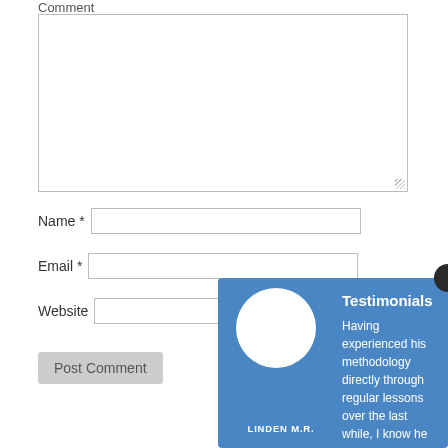Comment
Name *
Email *
Website
Post Comment
LINDEN M.R.
Testimonials
Having experienced his methodology directly through regular lessons over the last while, I know he ...